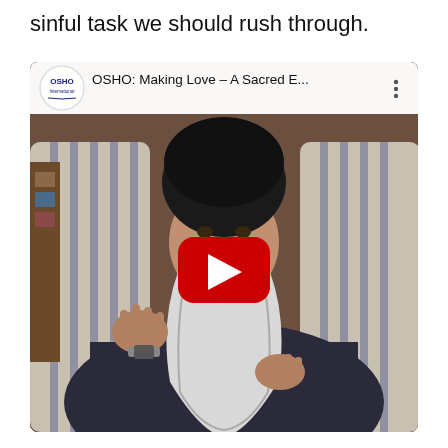sinful task we should rush through.
[Figure (screenshot): YouTube video thumbnail showing OSHO: Making Love – A Sacred E... with a bearded spiritual teacher seated in a chair, with a red YouTube play button overlay and the YouTube video bar at the top showing the OSHO International logo and video title.]